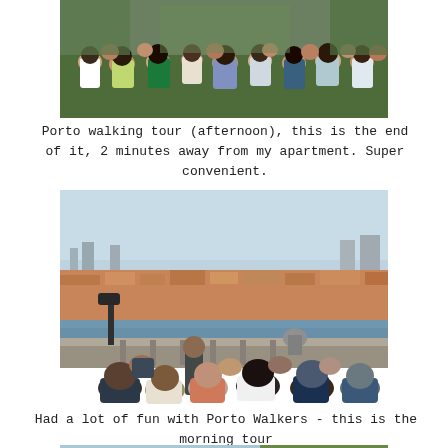[Figure (photo): Group of people sitting on grass during a walking tour, viewed from behind]
Porto walking tour (afternoon), this is the end of it, 2 minutes away from my apartment. Super convenient.
[Figure (photo): Porto Walkers group tour at a viewpoint overlooking Porto's terracotta rooftops and the Douro river, with a tour guide speaking to a seated crowd]
Had a lot of fun with Porto Walkers - this is the morning tour
[Figure (photo): Partial view of another Porto scene, partially cut off at bottom of page]